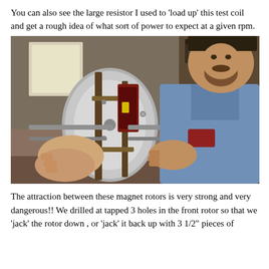You can also see the large resistor I used to 'load up' this test coil and get a rough idea of what sort of power to expect at a given rpm.
[Figure (photo): A bearded man wearing a hat and denim jacket holds a magnetic rotor assembly in a workshop. The rotor consists of a large circular disc with magnets and a coil, clamped in a frame. Workshop tools and equipment are visible in the background.]
The attraction between these magnet rotors is very strong and very dangerous!! We drilled at tapped 3 holes in the front rotor so that we 'jack' the rotor down , or 'jack' it back up with 3 1/2" pieces of